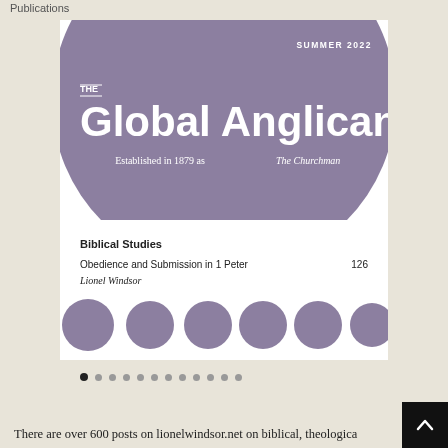Publications
[Figure (illustration): Cover of The Global Anglican magazine, Summer 2022 issue. Features a large purple circle on white background. Title reads 'THE Global Anglican' with subtitle 'Established in 1879 as The Churchman'. Below shows a Biblical Studies section listing 'Obedience and Submission in 1 Peter' by Lionel Windsor, page 126. Bottom shows decorative purple circles. Navigation dots appear below the magazine image.]
There are over 600 posts on lionelwindsor.net on biblical, theologica